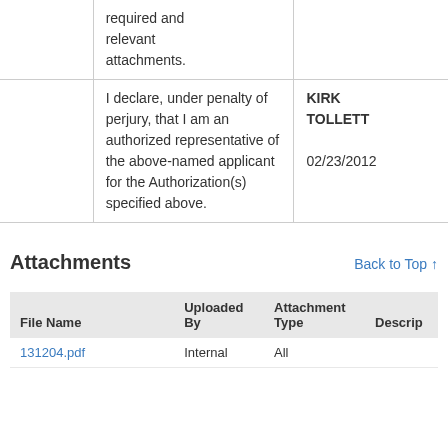|  |  |  |
| --- | --- | --- |
|  | required and relevant attachments. |  |
|  | I declare, under penalty of perjury, that I am an authorized representative of the above-named applicant for the Authorization(s) specified above. | KIRK TOLLETT

02/23/2012 |
Attachments
Back to Top ↑
| File Name | Uploaded By | Attachment Type | Descrip |
| --- | --- | --- | --- |
| 131204.pdf | Internal | All |  |